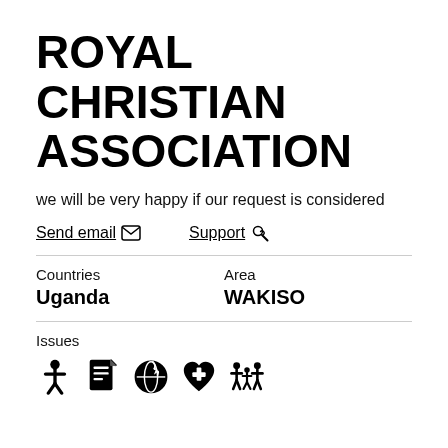ROYAL CHRISTIAN ASSOCIATION
we will be very happy if our request is considered
Send email  Support
| Countries | Area |
| --- | --- |
| Uganda | WAKISO |
Issues
[Figure (infographic): Five icons representing issues: person/human rights, document/list, globe with fire, heart with cross, family group]